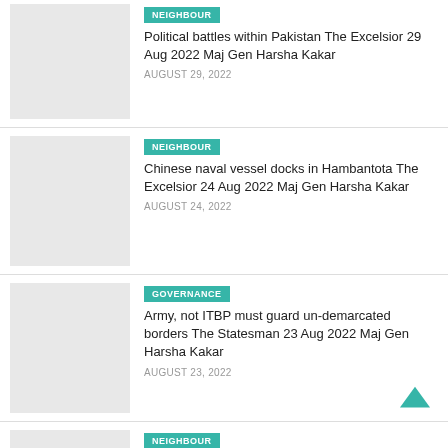[Figure (photo): Thumbnail placeholder image, light grey]
NEIGHBOUR
Political battles within Pakistan The Excelsior 29 Aug 2022 Maj Gen Harsha Kakar
AUGUST 29, 2022
[Figure (photo): Thumbnail placeholder image, light grey]
NEIGHBOUR
Chinese naval vessel docks in Hambantota The Excelsior 24 Aug 2022 Maj Gen Harsha Kakar
AUGUST 24, 2022
[Figure (photo): Thumbnail placeholder image, light grey]
GOVERNANCE
Army, not ITBP must guard un-demarcated borders The Statesman 23 Aug 2022 Maj Gen Harsha Kakar
AUGUST 23, 2022
[Figure (photo): Thumbnail placeholder image, light grey]
NEIGHBOUR
Chinese naval presence in Hambantota